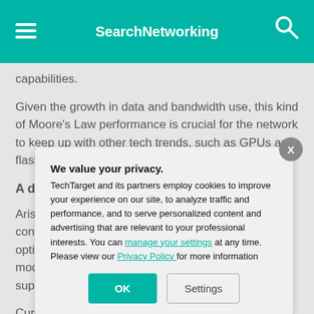SearchNetworking
capabilities.
Given the growth in data and bandwidth use, this kind of Moore’s Law performance is crucial for the network to keep up with other tech trends, such as GPUs and flash storage.
A debate over o…
Arista’s 400 GbE… configurations th… optical connecto… model uses OSF… supports QSFP-…
Currently, in the … as to which optic…
We value your privacy.
TechTarget and its partners employ cookies to improve your experience on our site, to analyze traffic and performance, and to serve personalized content and advertising that are relevant to your professional interests. You can manage your settings at any time. Please view our Privacy Policy for more information